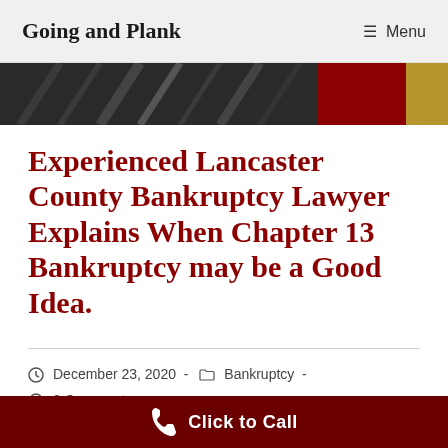Going and Plank  ≡ Menu
[Figure (photo): Decorative header image showing papers/documents with dark background and red/gold accents on right side]
Experienced Lancaster County Bankruptcy Lawyer Explains When Chapter 13 Bankruptcy may be a Good Idea.
December 23, 2020  -  Bankruptcy  -  0 Comments
Click to Call